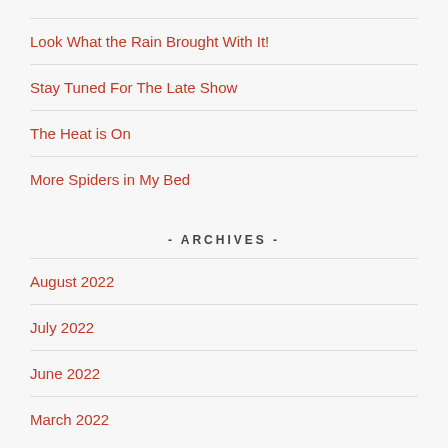Look What the Rain Brought With It!
Stay Tuned For The Late Show
The Heat is On
More Spiders in My Bed
- ARCHIVES -
August 2022
July 2022
June 2022
March 2022